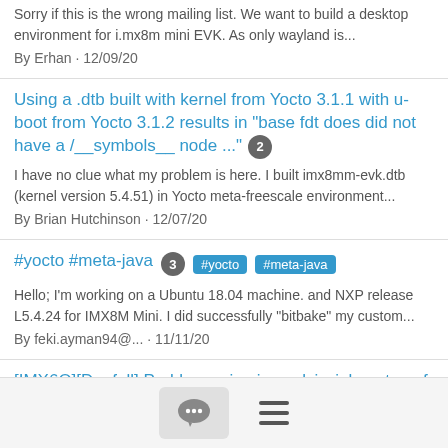Sorry if this is the wrong mailing list. We want to build a desktop environment for i.mx8m mini EVK. As only wayland is...
By Erhan · 12/09/20
Using a .dtb built with kernel from Yocto 3.1.1 with u-boot from Yocto 3.1.2 results in "base fdt does did not have a /__symbols__ node ..." 2
I have no clue what my problem is here. I built imx8mm-evk.dtb (kernel version 5.4.51) in Yocto meta-freescale environment...
By Brian Hutchinson · 12/07/20
#yocto #meta-java 3 #yocto #meta-java
Hello; I'm working on a Ubuntu 18.04 machine. and NXP release L5.4.24 for IMX8M Mini. I did successfully "bitbake" my custom...
By feki.ayman94@... · 11/11/20
[IMX6Q][Dunfell] Problem using imxeglvivsink on top of X11 9
I'm using a custom board/custom distro, based on yocto Dunfell.